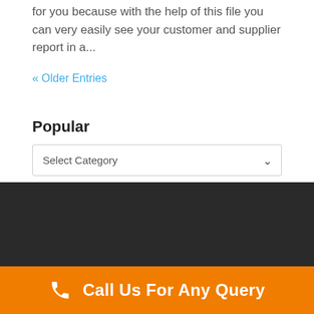for you because with the help of this file you can very easily see your customer and supplier report in a...
« Older Entries
Popular
Select Category
Call Us For Any Query